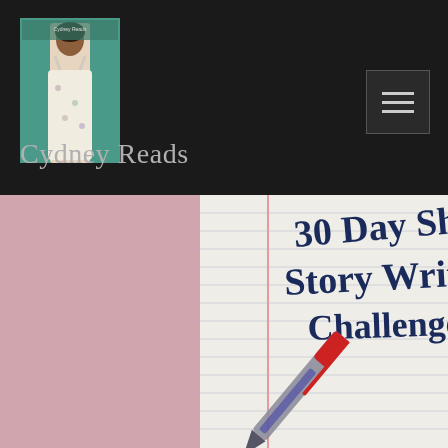[Figure (photo): Blog logo: a person in a floral dress standing against a teal background, with text 'Cydney Reads' visible]
Cydney Reads
[Figure (photo): A lined notebook page with handwritten text reading '30 Day Short Story Writing Challenge', with a red ballpoint pen resting on the lower right portion of the page]